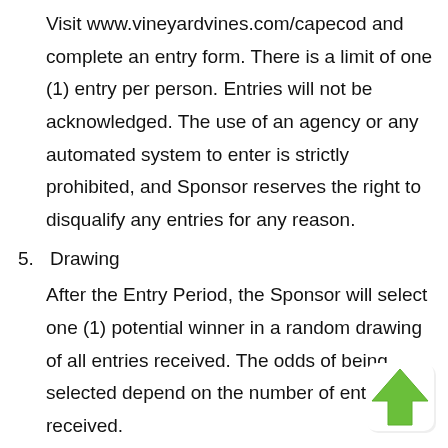Visit www.vineyardvines.com/capecod and complete an entry form. There is a limit of one (1) entry per person. Entries will not be acknowledged. The use of an agency or any automated system to enter is strictly prohibited, and Sponsor reserves the right to disqualify any entries for any reason.
5. Drawing
After the Entry Period, the Sponsor will select one (1) potential winner in a random drawing of all entries received. The odds of being selected depend on the number of entries received.
6. Notification and Requirements of Potential Winner